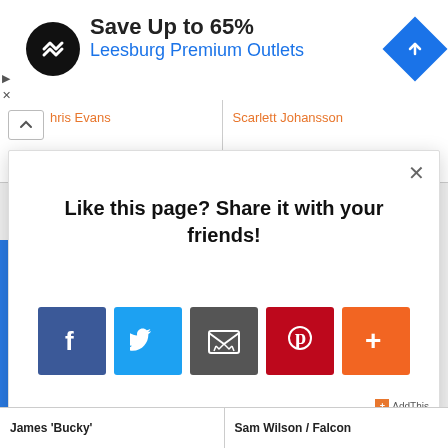[Figure (screenshot): Advertisement banner for Leesburg Premium Outlets with logo, 'Save Up to 65%' text, and navigation icon]
Chris Evans
Scarlett Johansson
Like this page? Share it with your friends!
[Figure (infographic): Social share buttons: Facebook, Twitter, Email, Pinterest, More (+)]
AddThis
James 'Bucky'
Sam Wilson / Falcon